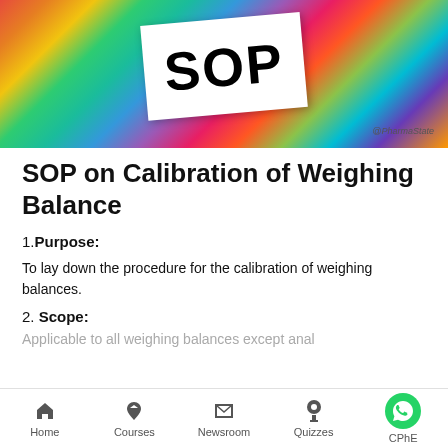[Figure (photo): Colorful sticky notes/paper pieces background with a white card in the center showing the word 'SOP' in bold black letters. Watermark '@PharmaState' visible on the card.]
SOP on Calibration of Weighing Balance
1. Purpose:
To lay down the procedure for the calibration of weighing balances.
2. Scope:
Applicable to all weighing balances except anal…
Home   Courses   Newsroom   Quizzes   CPhE